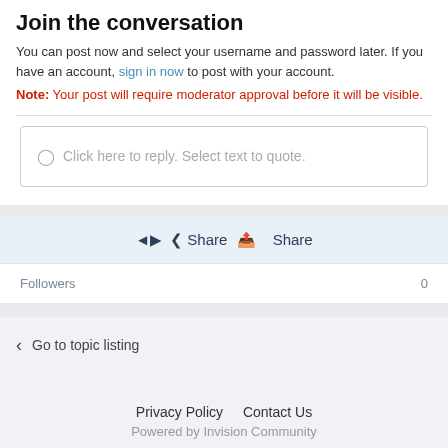Join the conversation
You can post now and select your username and password later. If you have an account, sign in now to post with your account.
Note: Your post will require moderator approval before it will be visible.
Click here to reply. Select text to quote.
Share
Followers  0
Go to topic listing
Privacy Policy   Contact Us
Powered by Invision Community